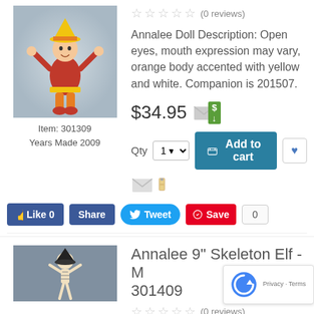[Figure (photo): Annalee doll with orange and red body, yellow hat, poseable arms]
Item: 301309
Years Made 2009
☆☆☆☆☆ (0 reviews)
Annalee Doll Description: Open eyes, mouth expression may vary, orange body accented with yellow and white. Companion is 201507.
$34.95
Qty 1 | Add to cart | ♥
Like 0 | Share | Tweet | Save | 0
Annalee 9" Skeleton Elf - M 301409
[Figure (photo): Annalee skeleton elf doll with black hat]
☆☆☆☆☆ (0 reviews)